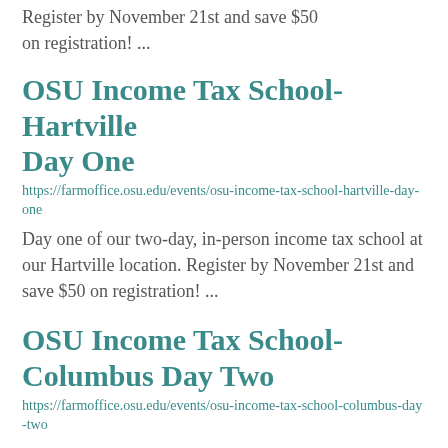Register by November 21st and save $50 on registration! ...
OSU Income Tax School- Hartville Day One
https://farmoffice.osu.edu/events/osu-income-tax-school-hartville-day-one
Day one of our two-day, in-person income tax school at our Hartville location. Register by November 21st and save $50 on registration! ...
OSU Income Tax School- Columbus Day Two
https://farmoffice.osu.edu/events/osu-income-tax-school-columbus-day-two